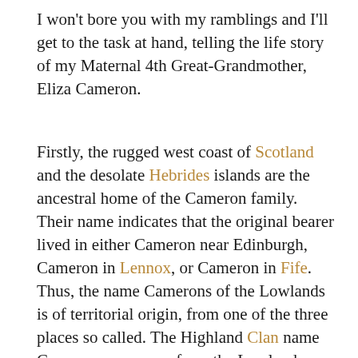I won't bore you with my ramblings and I'll get to the task at hand, telling the life story of my Maternal 4th Great-Grandmother, Eliza Cameron.
Firstly, the rugged west coast of Scotland and the desolate Hebrides islands are the ancestral home of the Cameron family. Their name indicates that the original bearer lived in either Cameron near Edinburgh, Cameron in Lennox, or Cameron in Fife. Thus, the name Camerons of the Lowlands is of territorial origin, from one of the three places so called. The Highland Clan name Cameron may come from the Lowland name, but it is also derived from the Gaelic word cam-shron, which